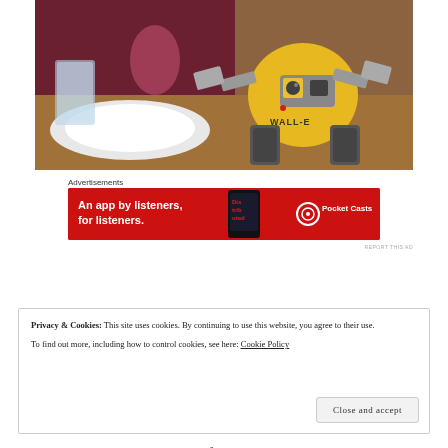[Figure (photo): Photo of a WALL-E plush toy sitting on a restaurant table next to white plates and a glass of water, with a person in a dark red jacket visible in the background]
Advertisements
[Figure (other): Pocket Casts advertisement banner: red background, text 'An app by listeners, for listeners.' with a phone showing the app and the Pocket Casts logo and name]
REPORT THIS AD
Privacy & Cookies: This site uses cookies. By continuing to use this website, you agree to their use.
To find out more, including how to control cookies, see here: Cookie Policy
Close and accept
the pizza wrappers and cups from the gas station that